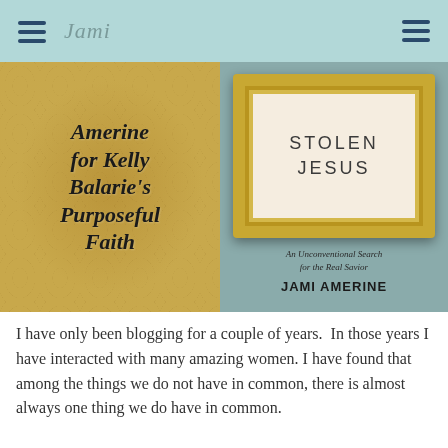Jami
[Figure (illustration): Book promotional image split into two panels: left panel has gold damask wallpaper background with bold italic text 'Amerine for Kelly Balarie's Purposeful Faith'; right panel shows the book cover of 'Stolen Jesus: An Unconventional Search for the Real Savior' by Jami Amerine, featuring a gold ornate picture frame on a gray-blue background.]
I have only been blogging for a couple of years.  In those years I have interacted with many amazing women. I have found that among the things we do not have in common, there is almost always one thing we do have in common.